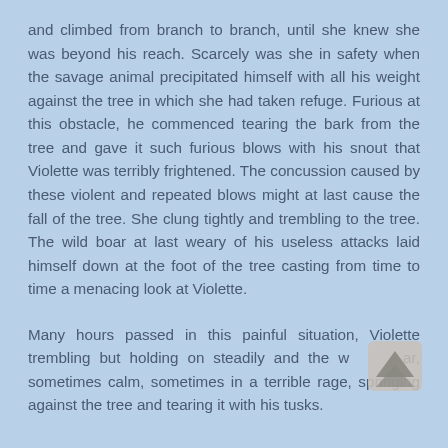and climbed from branch to branch, until she knew she was beyond his reach. Scarcely was she in safety when the savage animal precipitated himself with all his weight against the tree in which she had taken refuge. Furious at this obstacle, he commenced tearing the bark from the tree and gave it such furious blows with his snout that Violette was terribly frightened. The concussion caused by these violent and repeated blows might at last cause the fall of the tree. She clung tightly and trembling to the tree. The wild boar at last weary of his useless attacks laid himself down at the foot of the tree casting from time to time a menacing look at Violette.
Many hours passed in this painful situation, Violette trembling but holding on steadily and the wild boar, sometimes calm, sometimes in a terrible rage, springing against the tree and tearing it with his tusks.